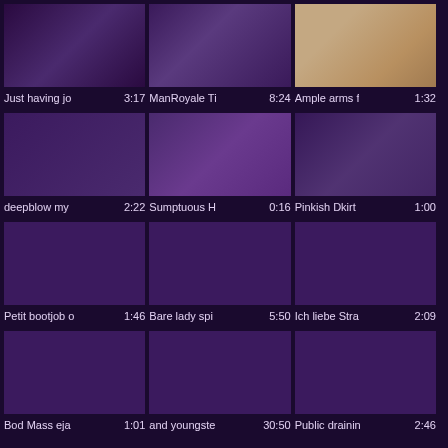[Figure (screenshot): Video thumbnail grid with 12 video items in a 3x4 layout, each showing a thumbnail image and title with duration]
Just having jo 3:17
ManRoyale Ti 8:24
Ample arms f 1:32
deepblow my 2:22
Sumptuous H 0:16
Pinkish Dkirt 1:00
Petit bootjob o 1:46
Bare lady spi 5:50
Ich liebe Stra 2:09
Bod Mass eja 1:01
and youngste 30:50
Public drainin 2:46